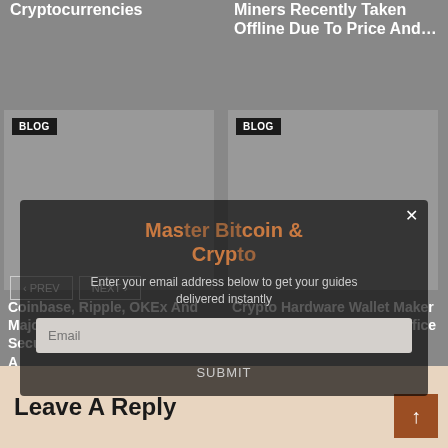Cryptocurrencies
Miners Recently Taken Offline Due To Price And…
[Figure (screenshot): Blog card image placeholder with BLOG tag, left card]
Coinbase, Ripple, OKEx And Major Investors Back Securitize's $13 Million Round A
[Figure (screenshot): Blog card image placeholder with BLOG tag, right card]
Crypto Hardware Wallet Maker Ledger Opens New York Office For Institutional Push
< PREV   NEXT >
[Figure (infographic): Overlay modal: Master Bitcoin & Crypto — Enter your email address below to get your guides delivered instantly, with email input field and SUBMIT button]
Leave A Reply